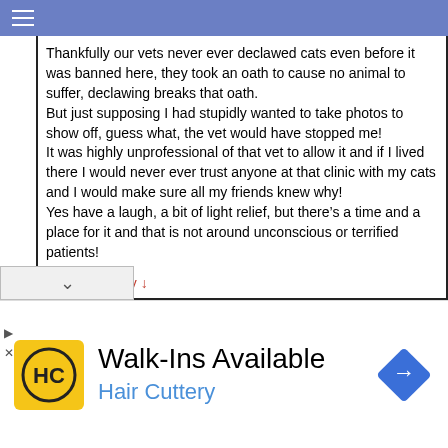Thankfully our vets never ever declawed cats even before it was banned here, they took an oath to cause no animal to suffer, declawing breaks that oath.
But just supposing I had stupidly wanted to take photos to show off, guess what, the vet would have stopped me!
It was highly unprofessional of that vet to allow it and if I lived there I would never ever trust anyone at that clinic with my cats and I would make sure all my friends knew why!
Yes have a laugh, a bit of light relief, but there’s a time and a place for it and that is not around unconscious or terrified patients!
Reply ↓
[Figure (infographic): Advertisement for Hair Cuttery showing logo, Walk-Ins Available text, and a blue road sign diamond icon.]